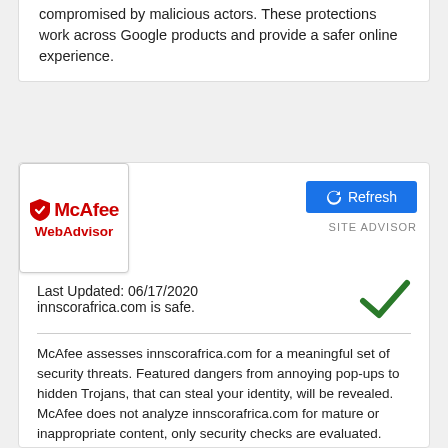compromised by malicious actors. These protections work across Google products and provide a safer online experience.
[Figure (logo): McAfee WebAdvisor logo — red shield icon with 'McAfee' and 'WebAdvisor' text in red, white background, bordered box]
[Figure (screenshot): Refresh button (blue) with refresh icon, and 'SITE ADVISOR' label below in grey]
Last Updated: 06/17/2020
innscorafrica.com is safe.
[Figure (illustration): Green checkmark indicating safe status]
McAfee assesses innscorafrica.com for a meaningful set of security threats. Featured dangers from annoying pop-ups to hidden Trojans, that can steal your identity, will be revealed. McAfee does not analyze innscorafrica.com for mature or inappropriate content, only security checks are evaluated.